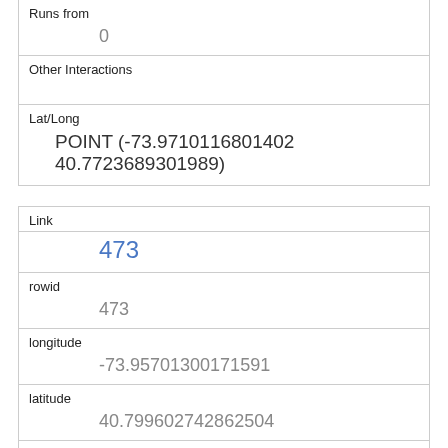| Runs from | 0 |
| Other Interactions |  |
| Lat/Long | POINT (-73.9710116801402 40.7723689301989) |
| Link | 473 |
| rowid | 473 |
| longitude | -73.95701300171591 |
| latitude | 40.799602742862504 |
| Unique Squirrel ID | 42B-AM-1014-02 |
| Hectare | 42B |
| Shift | AM |